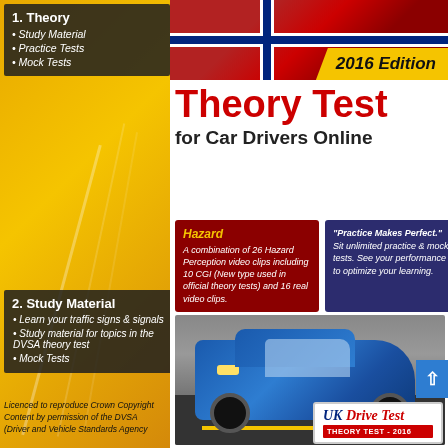[Figure (illustration): Book cover for Theory Test for Car Drivers Online, 2016 Edition, featuring a blue car, UK flag, gold/yellow left panel, hazard perception and practice test info boxes, and UK Drive Test logo.]
1. Theory
Study Material
Practice Tests
Mock Tests
Theory Test for Car Drivers Online
2016 Edition
Hazard
A combination of 26 Hazard Perception video clips including 10 CGI (New type used in official theory tests) and 16 real video clips.
"Practice Makes Perfect." Sit unlimited practice & mock tests. See your performance to optimize your learning.
2. Study Material
Learn your traffic signs & signals
Study material for topics in the DVSA theory test
Mock Tests
Licenced to reproduce Crown Copyright Content by permission of the DVSA (Driver and Vehicle Standards Agency
UK Drive Test
THEORY TEST - 2016